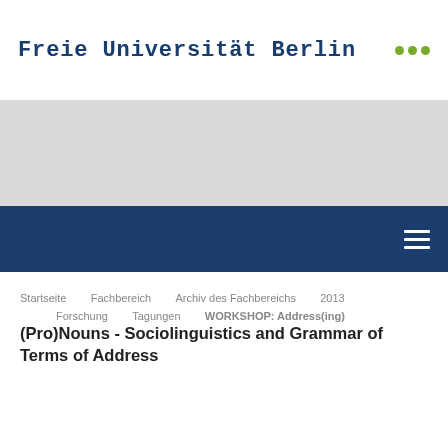Freie Universität Berlin
Startseite · Fachbereich · Archiv des Fachbereichs · 2013 · Forschung · Tagungen · WORKSHOP: Address(ing) (Pro)Nouns - Sociolinguistics and Grammar of Terms of Address